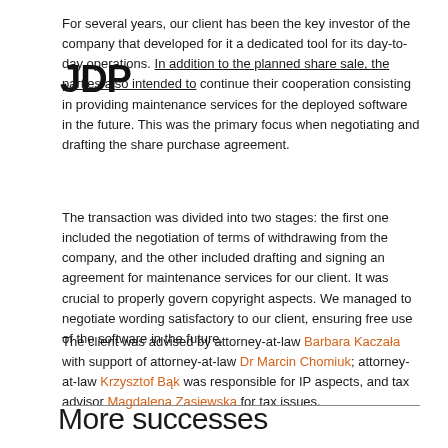[Figure (logo): JDP law firm logo in bold black text]
For several years, our client has been the key investor of the company that developed for it a dedicated tool for its day-to-day operations. In addition to the planned share sale, the parties also intended to continue their cooperation consisting in providing maintenance services for the deployed software in the future. This was the primary focus when negotiating and drafting the share purchase agreement.
The transaction was divided into two stages: the first one included the negotiation of terms of withdrawing from the company, and the other included drafting and signing an agreement for maintenance services for our client. It was crucial to properly govern copyright aspects. We managed to negotiate wording satisfactory to our client, ensuring free use of the software in the future.
The client was advised by attorney-at-law Barbara Kaczała with support of attorney-at-law Dr Marcin Chomiuk; attorney-at-law Krzysztof Bąk was responsible for IP aspects, and tax advisor Magdalena Zasiewska for tax issues.
More successes